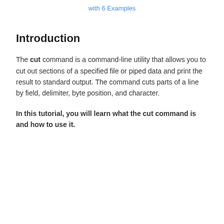with 6 Examples
Introduction
The cut command is a command-line utility that allows you to cut out sections of a specified file or piped data and print the result to standard output. The command cuts parts of a line by field, delimiter, byte position, and character.
In this tutorial, you will learn what the cut command is and how to use it.